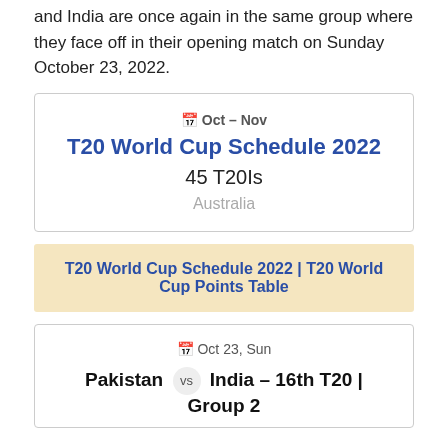and India are once again in the same group where they face off in their opening match on Sunday October 23, 2022.
[Figure (infographic): Card showing T20 World Cup Schedule 2022 event info: Oct-Nov, 45 T20Is, Australia]
T20 World Cup Schedule 2022 | T20 World Cup Points Table
[Figure (infographic): Card showing Pakistan vs India - 16th T20 | Group 2 match on Oct 23, Sun]